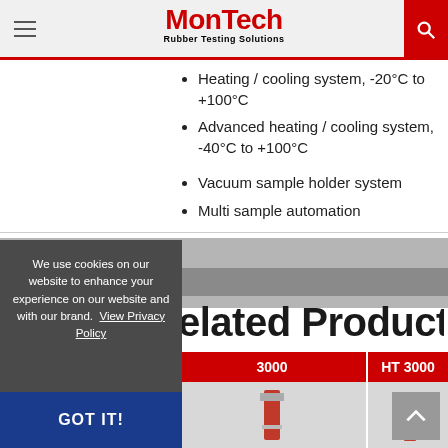MonTech Rubber Testing Solutions
Heating / cooling system, -20°C to +100°C
Advanced heating / cooling system, -40°C to +100°C
Vacuum sample holder system
Multi sample automation
We use cookies on our website to enhance your experience on our website and with our brand. View Privacy Policy
GOT IT!
Related Products
3000
HT 3000